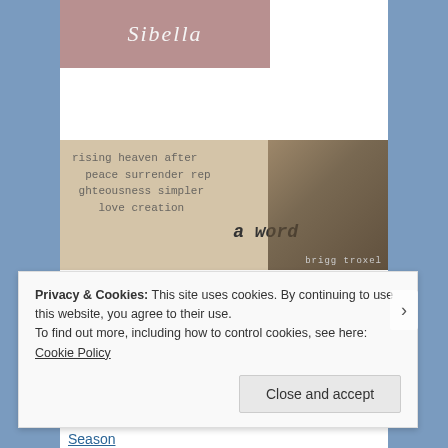[Figure (logo): Cursive/script logo reading 'Sibella' on a mauve/dusty rose background]
[Figure (photo): Typewriter photo with text words visible (heaven, peace, surrender, righteousness) and 'a word' typed prominently; watermark 'brigg troxel' in corner]
https://aword.info/
Recent Posts
The Inclusive Language of God — A Word in Season
Privacy & Cookies: This site uses cookies. By continuing to use this website, you agree to their use.
To find out more, including how to control cookies, see here: Cookie Policy
Close and accept